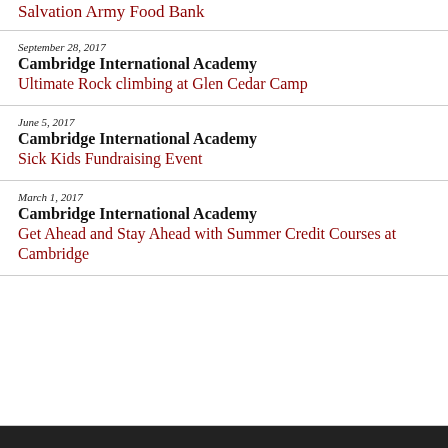Salvation Army Food Bank
September 28, 2017
Cambridge International Academy
Ultimate Rock climbing at Glen Cedar Camp
June 5, 2017
Cambridge International Academy
Sick Kids Fundraising Event
March 1, 2017
Cambridge International Academy
Get Ahead and Stay Ahead with Summer Credit Courses at Cambridge